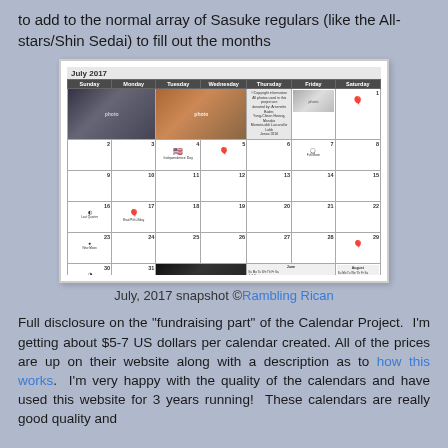to add to the normal array of Sasuke regulars (like the All-stars/Shin Sedai) to fill out the months
[Figure (screenshot): July 2017 calendar screenshot showing a monthly calendar grid with photos of people, balloon icons, moon phase icons, and a US flag icon for Independence Day. The calendar header reads 'July 2017' with days of the week.]
July, 2017 snapshot ©Rambling Rican
Full disclosure on the "fundraising part" of the Calendar Project.  I'm getting about $5-7 US dollars per calendar created. All of the prices are up on their website along with a description as to how this works.  I'm very happy with the quality of the calendars and have used this website for 3 years running!  These calendars are really good quality and